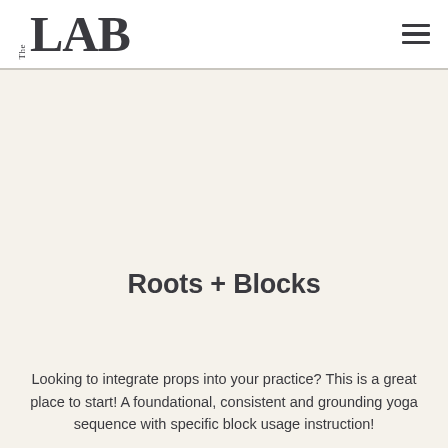The LAB
Roots + Blocks
Looking to integrate props into your practice? This is a great place to start! A foundational, consistent and grounding yoga sequence with specific block usage instruction!